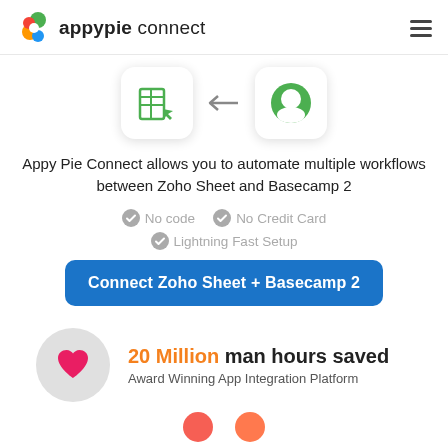appypie connect
[Figure (illustration): Two app icons with a left arrow between them — Zoho Sheet icon (green spreadsheet symbol) on left, Basecamp 2 icon (green circle) on right, connected by a left-pointing arrow.]
Appy Pie Connect allows you to automate multiple workflows between Zoho Sheet and Basecamp 2
No code
No Credit Card
Lightning Fast Setup
Connect Zoho Sheet + Basecamp 2
20 Million man hours saved
Award Winning App Integration Platform